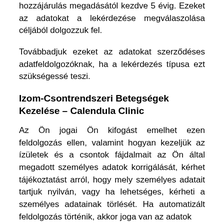hozzájárulás megadásától kezdve 5 évig. Ezeket az adatokat a lekérdezése megválaszolása céljából dolgozzuk fel.
Továbbadjuk ezeket az adatokat szerződéses adatfeldolgozóknak, ha a lekérdezés típusa ezt szükségessé teszi.
Izom-Csontrendszeri Betegségek Kezelése – Calendula Clinic
Az Ön jogai Ön kifogást emelhet ezen feldolgozás ellen, valamint hogyan kezeljük az ízületek és a csontok fájdalmait az Ön által megadott személyes adatok korrigálását, kérhet tájékoztatást arról, hogy mely személyes adatait tartjuk nyilván, vagy ha lehetséges, kérheti a személyes adatainak törlését. Ha automatizált feldolgozás történik, akkor joga van az adatok